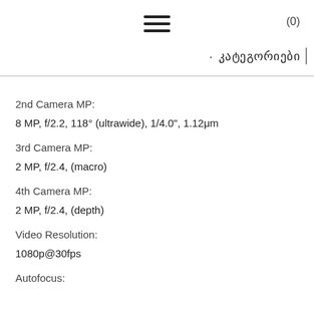≡  (0)  კატეგორიები
2nd Camera MP:
8 MP, f/2.2, 118° (ultrawide), 1/4.0", 1.12μm
3rd Camera MP:
2 MP, f/2.4, (macro)
4th Camera MP:
2 MP, f/2.4, (depth)
Video Resolution:
1080p@30fps
Autofocus: